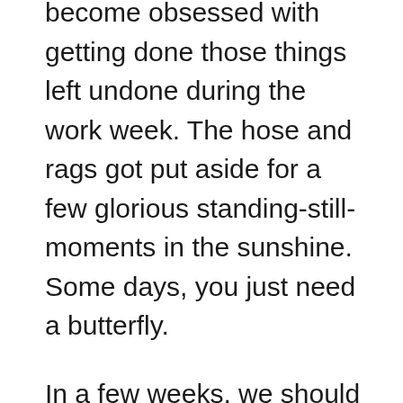become obsessed with getting done those things left undone during the work week. The hose and rags got put aside for a few glorious standing-still-moments in the sunshine.  Some days, you just need a butterfly.
In a few weeks, we should be seeing the monarch butterflies sweeping through on their southward migration.  We keep a couple of patches of goldenrods for these beautiful insects to light upon as they head south. The Blonde Gardener has a nice post about being a Monarch Watch Station and a couple of posts about the monarchs' life cycle.  Maybe next year, we'll try the watch station